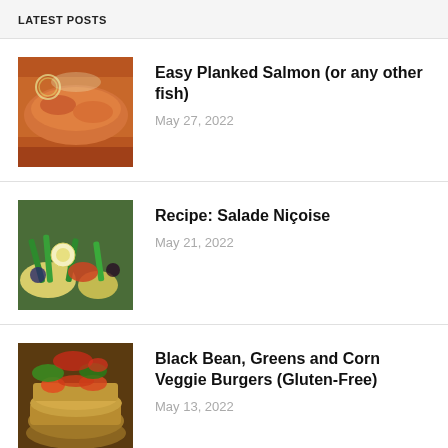LATEST POSTS
[Figure (photo): Planked salmon fillet with lemon slices on a wooden board]
Easy Planked Salmon (or any other fish)
May 27, 2022
[Figure (photo): Salade Niçoise with green beans, eggs, olives, tomatoes and potatoes]
Recipe: Salade Niçoise
May 21, 2022
[Figure (photo): Black bean veggie burger with greens and tomatoes on a bun]
Black Bean, Greens and Corn Veggie Burgers (Gluten-Free)
May 13, 2022